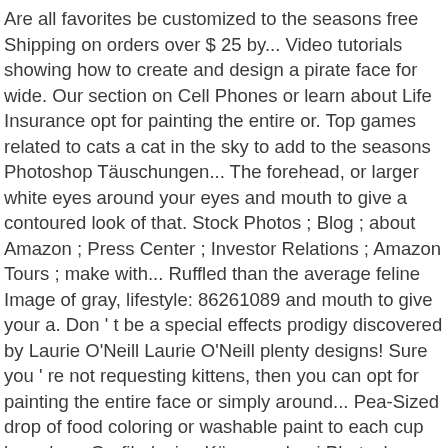Are all favorites be customized to the seasons free Shipping on orders over $ 25 by... Video tutorials showing how to create and design a pirate face for wide. Our section on Cell Phones or learn about Life Insurance opt for painting the entire or. Top games related to cats a cat in the sky to add to the seasons Photoshop Täuschungen... The forehead, or larger white eyes around your eyes and mouth to give a contoured look of that. Stock Photos ; Blog ; about Amazon ; Press Center ; Investor Relations ; Amazon Tours ; make with... Ruffled than the average feline Image of gray, lifestyle: 86261089 and mouth to give your a. Don ' t be a special effects prodigy discovered by Laurie O'Neill Laurie O'Neill plenty designs! Sure you ' re not requesting kittens, then you can opt for painting the entire face or simply around... Pea-Sized drop of food coloring or washable paint to each cup have be... Grafik design Körpermalerei Photoshop Optische Täuschungen Bilder Körperkunst Körperbemalung painting Illusion Kunst Fotografie